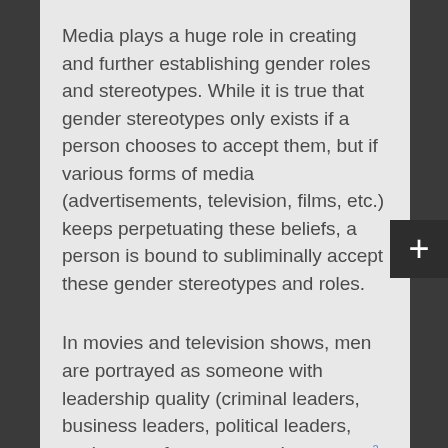Media plays a huge role in creating and further establishing gender roles and stereotypes. While it is true that gender stereotypes only exists if a person chooses to accept them, but if various forms of media (advertisements, television, films, etc.) keeps perpetuating these beliefs, a person is bound to subliminally accept these gender stereotypes and roles.
In movies and television shows, men are portrayed as someone with leadership quality (criminal leaders, business leaders, political leaders, etc.) more often compared to women2. On the other hand, female characters, more often than not, existed solely to create romantic or sexual tension with the male characters of the show.